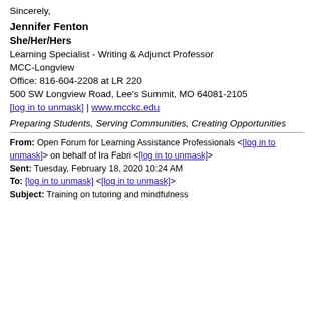Sincerely,
Jennifer Fenton
She/Her/Hers
Learning Specialist - Writing & Adjunct Professor
MCC-Longview
Office: 816-604-2208 at LR 220
500 SW Longview Road, Lee's Summit, MO 64081-2105
[log in to unmask] | www.mcckc.edu
Preparing Students, Serving Communities, Creating Opportunities
From: Open Forum for Learning Assistance Professionals <[log in to unmask]> on behalf of Ira Fabri <[log in to unmask]>
Sent: Tuesday, February 18, 2020 10:24 AM
To: [log in to unmask] <[log in to unmask]>
Subject: Training on tutoring and mindfulness